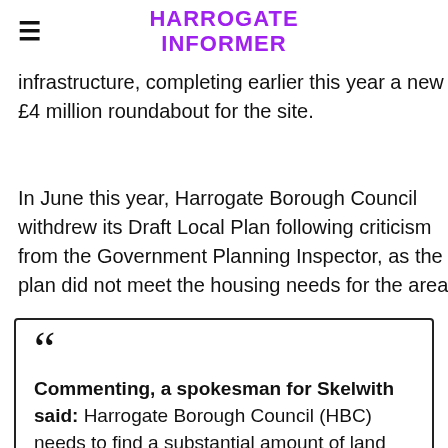HARROGATE INFORMER
infrastructure, completing earlier this year a new £4 million roundabout for the site.
In June this year, Harrogate Borough Council withdrew its Draft Local Plan following criticism from the Government Planning Inspector, as the plan did not meet the housing needs for the area.
Commenting, a spokesman for Skelwith said: Harrogate Borough Council (HBC) needs to find a substantial amount of land for housing and employment development to